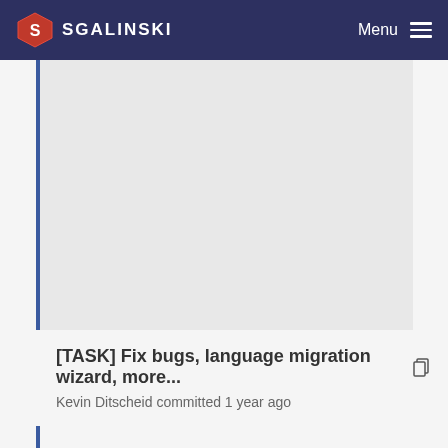SGALINSKI  Menu
[Figure (other): Gray advertisement block area]
[TASK] Fix bugs, language migration wizard, more... Kevin Ditscheid committed 1 year ago